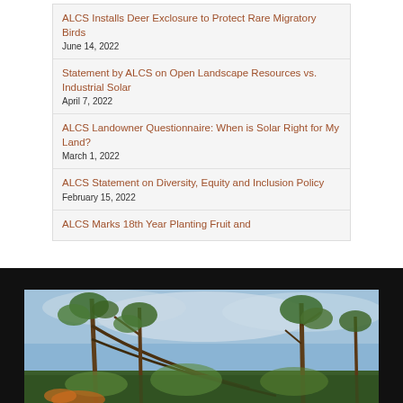ALCS Installs Deer Exclosure to Protect Rare Migratory Birds
June 14, 2022
Statement by ALCS on Open Landscape Resources vs. Industrial Solar
April 7, 2022
ALCS Landowner Questionnaire: When is Solar Right for My Land?
March 1, 2022
ALCS Statement on Diversity, Equity and Inclusion Policy
February 15, 2022
ALCS Marks 18th Year Planting Fruit and
[Figure (photo): Outdoor nature photo showing trees with arching branches against a partly cloudy blue sky, with green foliage visible.]